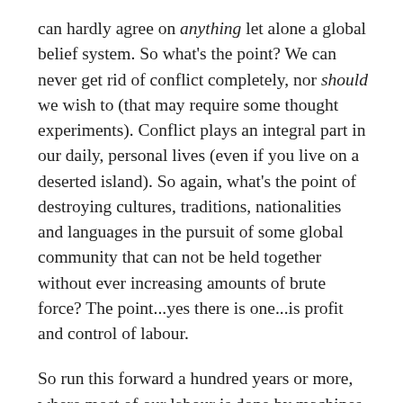can hardly agree on anything let alone a global belief system. So what's the point? We can never get rid of conflict completely, nor should we wish to (that may require some thought experiments). Conflict plays an integral part in our daily, personal lives (even if you live on a deserted island). So again, what's the point of destroying cultures, traditions, nationalities and languages in the pursuit of some global community that can not be held together without ever increasing amounts of brute force? The point...yes there is one...is profit and control of labour.
So run this forward a hundred years or more, where most of our labour is done by machines through technology. Profit is nicely taken care of by that, leaving only a necessary global force of control...slavery. Slavery through debt, and slavery through reliance on goods and services. Clearly the cell will yearn to divide. Clearly the glue that binds it must get stronger.